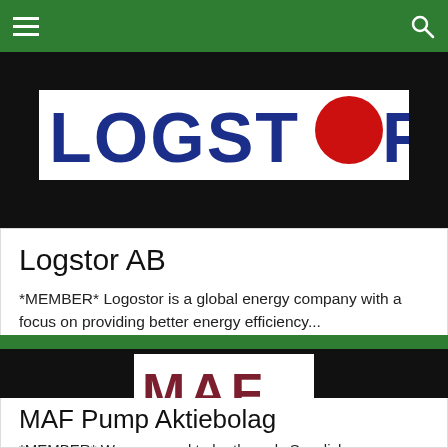[Figure (logo): LOGSTOR logo — blue text with red circle replacing the O, on dark background]
Logstor AB
*MEMBER* Logostor is a global energy company with a focus on providing better energy efficiency...
[Figure (logo): MAF Pump logo — dark red stylized MAF letters with wave/pipe graphic below, on dark background]
MAF Pump Aktiebolag
*MEMBER* We are proud to be the only Swedish manufacturer of progressive cavity pumps. We...